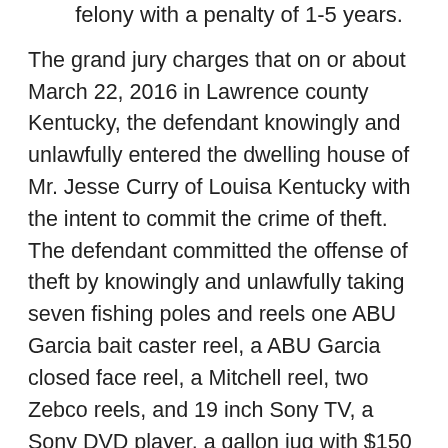felony with a penalty of 1-5 years.
The grand jury charges that on or about March 22, 2016 in Lawrence county Kentucky, the defendant knowingly and unlawfully entered the dwelling house of Mr. Jesse Curry of Louisa Kentucky with the intent to commit the crime of theft. The defendant committed the offense of theft by knowingly and unlawfully taking seven fishing poles and reels one ABU Garcia bait caster reel, a ABU Garcia closed face reel, a Mitchell reel, two Zebco reels, and 19 inch Sony TV, a Sony DVD player, a gallon jug with $150 worth of coins, 20 ounces of silver, a 5 ounce bar of silver, 14 silver rounds, 20 (10 Graham bars of silver.) and an outdoor refrigerator owned by Mr. Curry of Louisa Kentucky with a total value of stolen items at $1258. Resulting at $10,000...